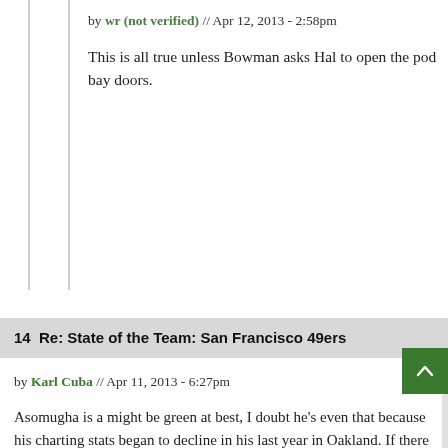by wr (not verified) // Apr 12, 2013 - 2:58pm
This is all true unless Bowman asks Hal to open the pod bay doors.
14  Re: State of the Team: San Francisco 49ers
by Karl Cuba // Apr 11, 2013 - 6:27pm
Asomugha is a might be green at best, I doubt he's even that because his charting stats began to decline in his last year in Oakland. If there was a colour between green and black I think I'd